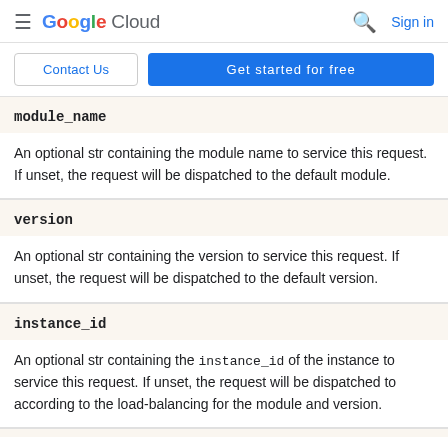Google Cloud — Sign in
Contact Us | Get started for free
module_name
An optional str containing the module name to service this request. If unset, the request will be dispatched to the default module.
version
An optional str containing the version to service this request. If unset, the request will be dispatched to the default version.
instance_id
An optional str containing the instance_id of the instance to service this request. If unset, the request will be dispatched to according to the load-balancing for the module and version.